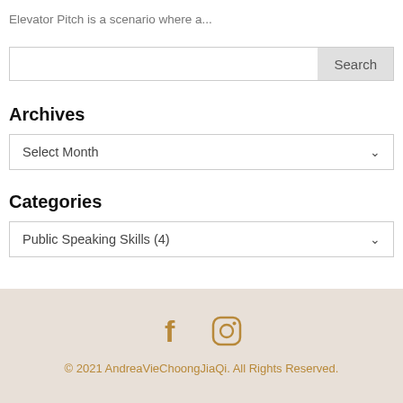Elevator Pitch is a scenario where a...
Search
Archives
Select Month
Categories
Public Speaking Skills (4)
© 2021 AndreaVieChoongJiaQi. All Rights Reserved.